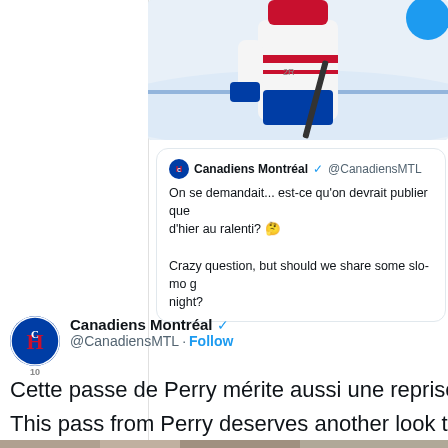[Figure (photo): Hockey player in Montreal Canadiens white jersey on ice, partial view showing torso and stick]
[Figure (screenshot): Quoted tweet from @CanadiensMTL asking if they should post slow-motion footage in French and English]
On se demandait... est-ce qu'on devrait publier que... d'hier au ralenti? 🤔

Crazy question, but should we share some slo-mo g... night?
[Figure (logo): Montreal Canadiens CH logo avatar with jersey number 10]
Canadiens Montréal ✓ @CanadiensMTL · Follow
Cette passe de Perry mérite aussi une reprise
This pass from Perry deserves another look to
[Figure (photo): Bottom partial image strip showing hockey players]